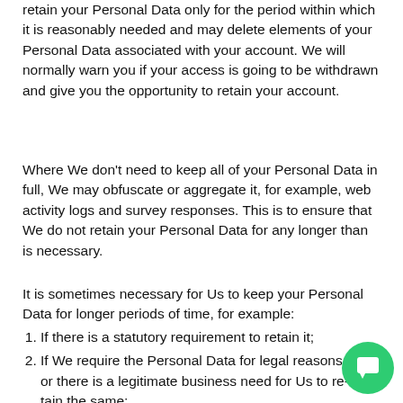retain your Personal Data only for the period within which it is reasonably needed and may delete elements of your Personal Data associated with your account. We will normally warn you if your access is going to be withdrawn and give you the opportunity to retain your account.
Where We don't need to keep all of your Personal Data in full, We may obfuscate or aggregate it, for example, web activity logs and survey responses. This is to ensure that We do not retain your Personal Data for any longer than is necessary.
It is sometimes necessary for Us to keep your Personal Data for longer periods of time, for example:
If there is a statutory requirement to retain it;
If We require the Personal Data for legal reas... there is a legitimate business need for Us to re... same;